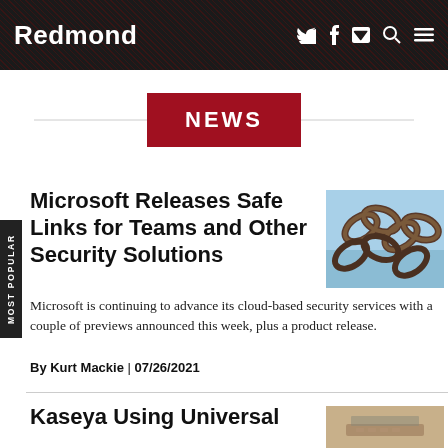Redmond
NEWS
Microsoft Releases Safe Links for Teams and Other Security Solutions
[Figure (photo): Close-up photo of a metal chain against a blue sky]
Microsoft is continuing to advance its cloud-based security services with a couple of previews announced this week, plus a product release.
By Kurt Mackie | 07/26/2021
Kaseya Using Universal